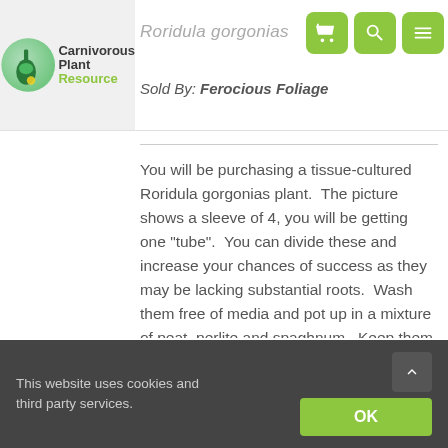Carnivorous Plant Resource
Roridula gorgonias
Sold By: Ferocious Foliage
You will be purchasing a tissue-cultured Roridula gorgonias plant.  The picture shows a sleeve of 4, you will be getting one "tube".  You can divide these and increase your chances of success as they may be lacking substantial roots.  Wash them free of media and pot up in a mixture of peat, perlite and spaghnum.  Keep them in a cool and shaded area under high humidity until they acclimate.  Dividing the multiple stems will decrease
This website uses cookies and third party services.
OK